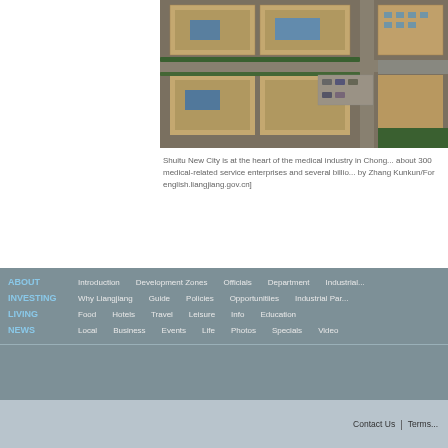[Figure (photo): Aerial view of Shuitu New City industrial/medical park buildings with brown brick facade, blue rooftop panels, tree-lined roads, and parking areas in Chongqing]
Shuitu New City is at the heart of the medical industry in Chong... about 300 medical-related service enterprises and several billio... by Zhang Kunkun/For english.liangjiang.gov.cn]
ABOUT Introduction Development Zones Officials Department Industrial... INVESTING Why Liangjiang Guide Policies Opportunitiies Industrial Par... LIVING Food Hotels Travel Leisure Info Education NEWS Local Business Events Life Photos Specials Video
Contact Us | Terms...